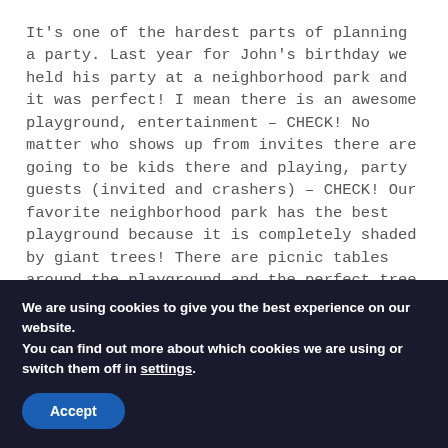It's one of the hardest parts of planning a party. Last year for John's birthday we held his party at a neighborhood park and it was perfect! I mean there is an awesome playground, entertainment – CHECK! No matter who shows up from invites there are going to be kids there and playing, party guests (invited and crashers) – CHECK! Our favorite neighborhood park has the best playground because it is completely shaded by giant trees! There are picnic tables around the playground and the perfect tree for the pinata. My only concern was the craziness of Texas Spring weather. Yes, 3 weeks out I'm checking projected
We are using cookies to give you the best experience on our website.
You can find out more about which cookies we are using or switch them off in settings.
Accept